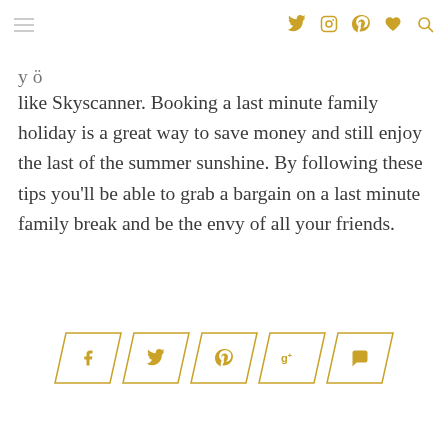[navigation icons: hamburger menu, twitter, instagram, pinterest, heart, search]
like Skyscanner. Booking a last minute family holiday is a great way to save money and still enjoy the last of the summer sunshine. By following these tips you'll be able to grab a bargain on a last minute family break and be the envy of all your friends.
[Figure (infographic): Social share buttons in parallelogram/diamond outlines: Facebook (f), Twitter (bird), Pinterest (p), Google+ (g+), Comment (speech bubble), all in gold/yellow color]